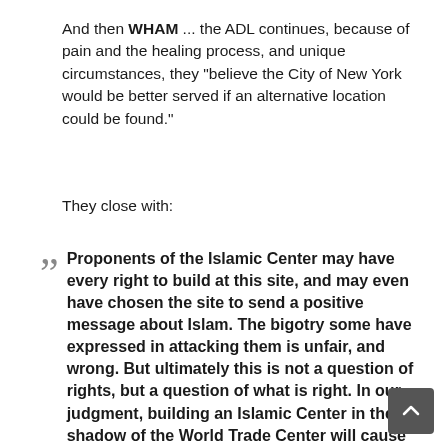And then WHAM ... the ADL continues, because of pain and the healing process, and unique circumstances, they “believe the City of New York would be better served if an alternative location could be found.”
They close with:
Proponents of the Islamic Center may have every right to build at this site, and may even have chosen the site to send a positive message about Islam. The bigotry some have expressed in attacking them is unfair, and wrong. But ultimately this is not a question of rights, but a question of what is right. In our judgment, building an Islamic Center in the shadow of the World Trade Center will cause some victims more pain â€“ unnecessarily â€“ and that is not right.